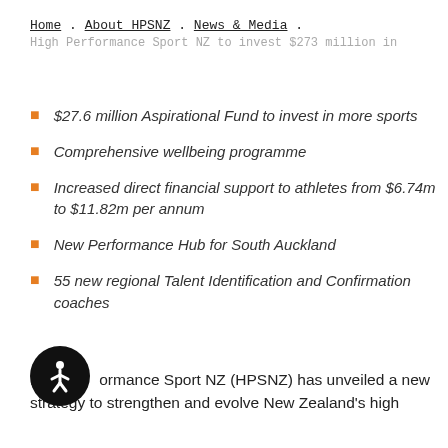Home . About HPSNZ . News & Media .
High Performance Sport NZ to invest $273 million in
$27.6 million Aspirational Fund to invest in more sports
Comprehensive wellbeing programme
Increased direct financial support to athletes from $6.74m to $11.82m per annum
New Performance Hub for South Auckland
55 new regional Talent Identification and Confirmation coaches
[Figure (illustration): Accessibility icon: circular black button with a person figure in white]
High Performance Sport NZ (HPSNZ) has unveiled a new strategy to strengthen and evolve New Zealand's high